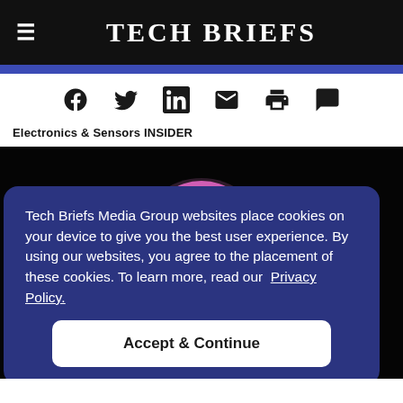Tech Briefs
Electronics & Sensors INSIDER
[Figure (photo): Close-up photo of a pink flower (likely a passionflower or similar) against a black background]
Tech Briefs Media Group websites place cookies on your device to give you the best user experience. By using our websites, you agree to the placement of these cookies. To learn more, read our Privacy Policy.
Accept & Continue